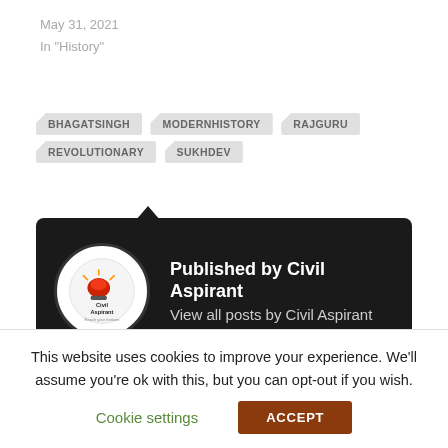May 31, 2021
In "History"
BHAGATSINGH
MODERNHISTORY
RAJGURU
REVOLUTIONARY
SUKHDEV
Published by Civil Aspirant
View all posts by Civil Aspirant
This website uses cookies to improve your experience. We'll assume you're ok with this, but you can opt-out if you wish.
Cookie settings   ACCEPT